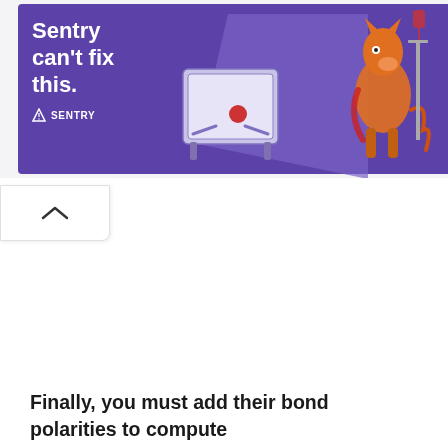[Figure (illustration): Advertisement banner for Sentry. Purple background with white bold text reading 'Sentry can't fix this.' with the Sentry logo beneath, and an illustration of a cartoon character (horse/donkey) and a pinball machine on the right side. Ad control icons (triangle/play and X) in top right corner.]
[Figure (other): Collapse/hide button with an upward-pointing chevron (^) arrow, white background with rounded corner on bottom-right, positioned below the ad banner.]
Finally, you must add their bond polarities to compute